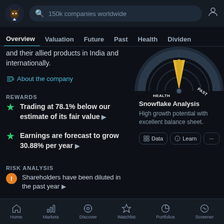[Figure (screenshot): Top navigation bar with logo, search box '150k companies worldwide', and user icon]
Overview  Valuation  Future  Past  Health  Dividen
and their allied products in India and internationally.
About the company
[Figure (other): Snowflake analysis gauge/dial showing yellow needle pointing between HEALTH and PAST labels on a dark circular gauge]
REWARDS
Trading at 78.1% below our estimate of its fair value
Earnings are forecast to grow 30.88% per year
Snowflake Analysis
High growth potential with excellent balance sheet.
Data  Learn  ...
RISK ANALYSIS
Shareholders have been diluted in the past year
Home  Markets  Discover  Watchlist  Portfolios  Screener